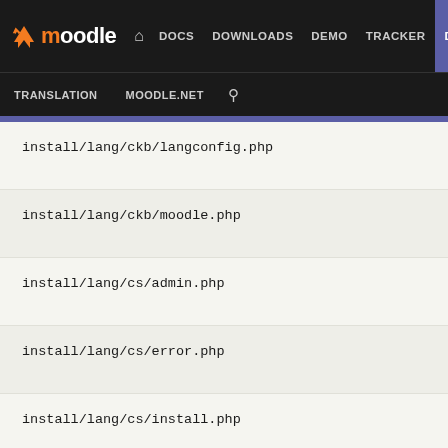moodle | DOCS DOWNLOADS DEMO TRACKER DEV | TRANSLATION MOODLE.NET
install/lang/ckb/langconfig.php
install/lang/ckb/moodle.php
install/lang/cs/admin.php
install/lang/cs/error.php
install/lang/cs/install.php